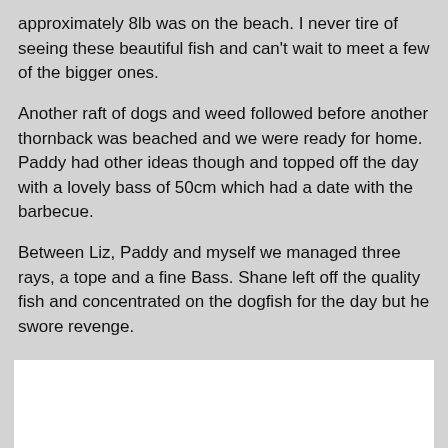approximately 8lb was on the beach. I never tire of seeing these beautiful fish and can't wait to meet a few of the bigger ones.
Another raft of dogs and weed followed before another thornback was beached and we were ready for home. Paddy had other ideas though and topped off the day with a lovely bass of 50cm which had a date with the barbecue.
Between Liz, Paddy and myself we managed three rays, a tope and a fine Bass. Shane left off the quality fish and concentrated on the dogfish for the day but he swore revenge.
[Figure (photo): White rectangular image area, appears blank or contains a photo not fully visible.]